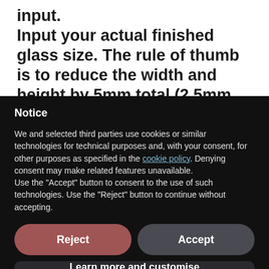Input your actual finished glass size. The rule of thumb is to reduce the width and height by 5mm total (2.5mm off each of the four sides) in wooden frames and 10mm total (5mm off each...
Notice
We and selected third parties use cookies or similar technologies for technical purposes and, with your consent, for other purposes as specified in the cookie policy. Denying consent may make related features unavailable.
Use the "Accept" button to consent to the use of such technologies. Use the "Reject" button to continue without accepting.